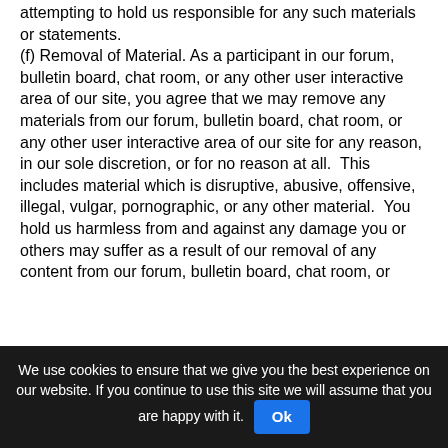attempting to hold us responsible for any such materials or statements.
(f) Removal of Material. As a participant in our forum, bulletin board, chat room, or any other user interactive area of our site, you agree that we may remove any materials from our forum, bulletin board, chat room, or any other user interactive area of our site for any reason, in our sole discretion, or for no reason at all.  This includes material which is disruptive, abusive, offensive, illegal, vulgar, pornographic, or any other material.  You hold us harmless from and against any damage you or others may suffer as a result of our removal of any content from our forum, bulletin board, chat room, or
We use cookies to ensure that we give you the best experience on our website. If you continue to use this site we will assume that you are happy with it.